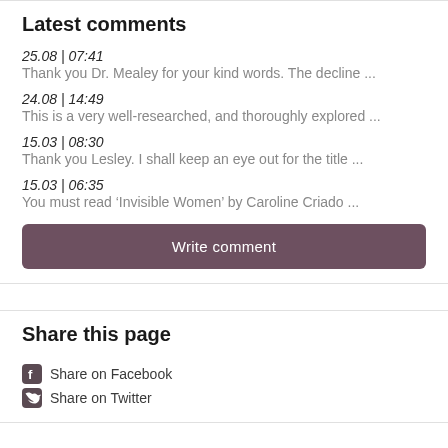Latest comments
25.08 / 07:41
Thank you Dr. Mealey for your kind words. The decline ...
24.08 / 14:49
This is a very well-researched, and thoroughly explored ...
15.03 / 08:30
Thank you Lesley. I shall keep an eye out for the title ...
15.03 / 06:35
You must read ‘Invisible Women’ by Caroline Criado ...
Write comment
Share this page
Share on Facebook
Share on Twitter